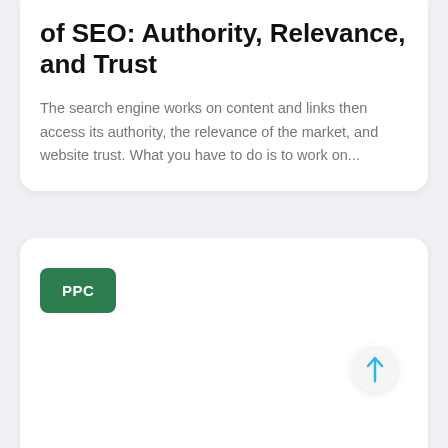of SEO: Authority, Relevance, and Trust
The search engine works on content and links then access its authority, the relevance of the market, and website trust. What you have to do is to work on...
PPC